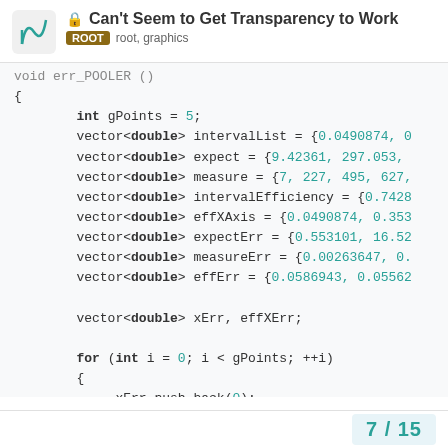Can't Seem to Get Transparency to Work — ROOT root, graphics
void err_POOLER() {
    int gPoints = 5;
    vector<double> intervalList = {0.0490874, 0...
    vector<double> expect = {9.42361, 297.053, ...
    vector<double> measure = {7, 227, 495, 627, ...
    vector<double> intervalEfficiency = {0.7428...
    vector<double> effXAxis = {0.0490874, 0.353...
    vector<double> expectErr = {0.553101, 16.52...
    vector<double> measureErr = {0.00263647, 0....
    vector<double> effErr = {0.0586943, 0.05562...

    vector<double> xErr, effXErr;

    for (int i = 0; i < gPoints; ++i)
    {
        xErr.push_back(0);
    }

    for (int i = 0; i < interv...
7 / 15